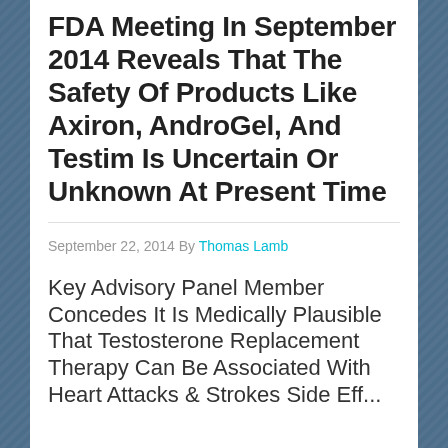FDA Meeting In September 2014 Reveals That The Safety Of Products Like Axiron, AndroGel, And Testim Is Uncertain Or Unknown At Present Time
September 22, 2014 By Thomas Lamb
Key Advisory Panel Member Concedes It Is Medically Plausible That Testosterone Replacement Therapy Can Be Associated With Heart Attacks & Strokes Side Eff...